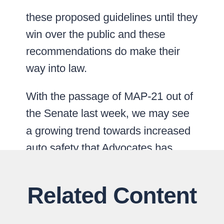these proposed guidelines until they win over the public and these recommendations do make their way into law.
With the passage of MAP-21 out of the Senate last week, we may see a growing trend towards increased auto safety that Advocates has worked so hard to bring about.
Related Content